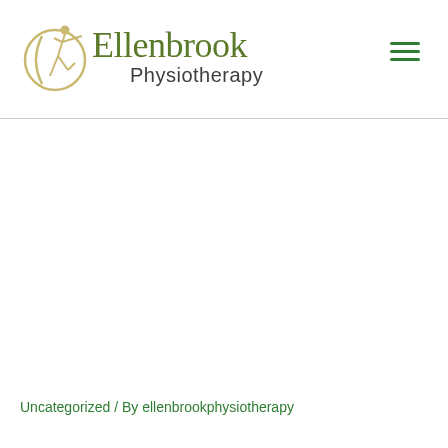[Figure (logo): Ellenbrook Physiotherapy logo with a golden figure and green text]
Uncategorized / By ellenbrookphysiotherapy
Lower back pain affects nearly 60 % of the population at some